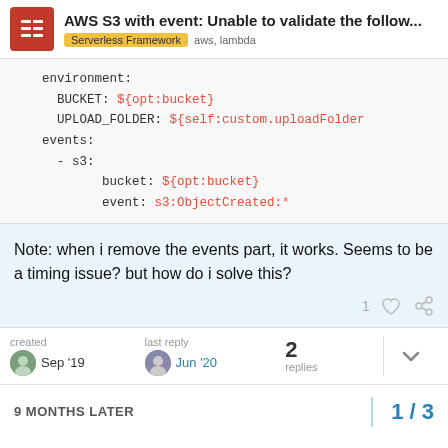AWS S3 with event: Unable to validate the follow... | Serverless Framework  aws, lambda
environment:
      BUCKET: ${opt:bucket}
      UPLOAD_FOLDER: ${self:custom.uploadFolder
    events:
      - s3:
            bucket: ${opt:bucket}
            event: s3:ObjectCreated:*
Note: when i remove the events part, it works. Seems to be a timing issue? but how do i solve this?
1 [like] [link]
created Sep '19  last reply Jun '20  2 replies
9 MONTHS LATER  1 / 3